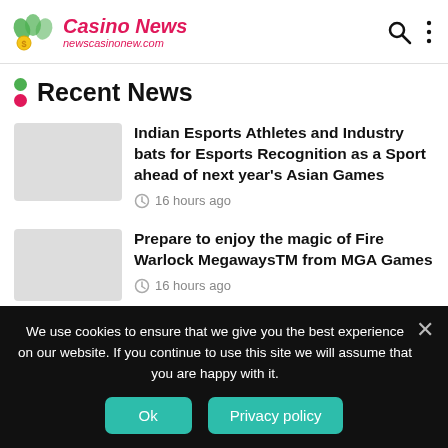Casino News — newscasinonew.com
Recent News
Indian Esports Athletes and Industry bats for Esports Recognition as a Sport ahead of next year's Asian Games
16 hours ago
Prepare to enjoy the magic of Fire Warlock MegawaysTM from MGA Games
16 hours ago
We use cookies to ensure that we give you the best experience on our website. If you continue to use this site we will assume that you are happy with it.